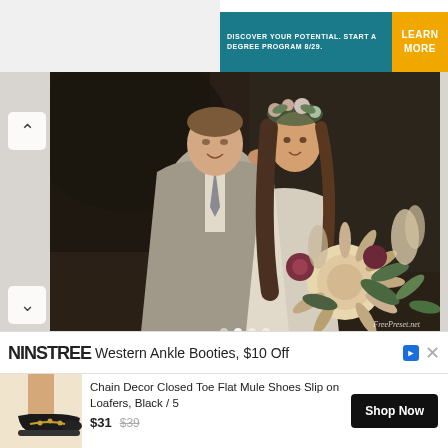[Figure (screenshot): Advertisement banner: teal background with text 'DISCOVER YOUR POTENTIAL. START A DEGREE PROGRAM 8/29.' and yellow 'LEARN MORE' button]
[Figure (photo): Wedding couple portrait: man in grey suit holding woman wearing floral crown, she holds a large boho bouquet with king proteas. Watermark: FreePreset.net]
[Figure (screenshot): NINSTREE advertisement banner: 'Western Ankle Booties, $10 Off' with ad and close icons]
[Figure (screenshot): Product ad: shoe image, 'Chain Decor Closed Toe Flat Mule Shoes Slip on Loafers, Black / 5', price $31 (was $39), Shop Now button]